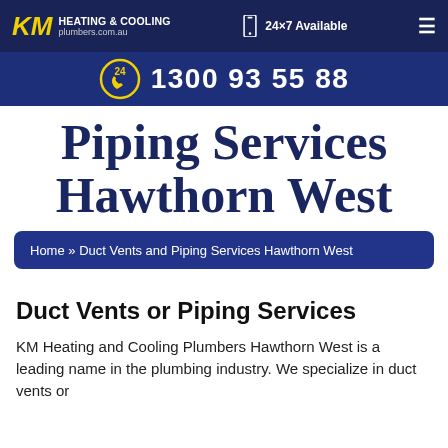KM HEATING & COOLING plumbers.com.au | 24×7 Available
1300 93 55 88
Piping Services Hawthorn West
Home » Duct Vents and Piping Services Hawthorn West
Duct Vents or Piping Services
KM Heating and Cooling Plumbers Hawthorn West is a leading name in the plumbing industry. We specialize in duct vents or